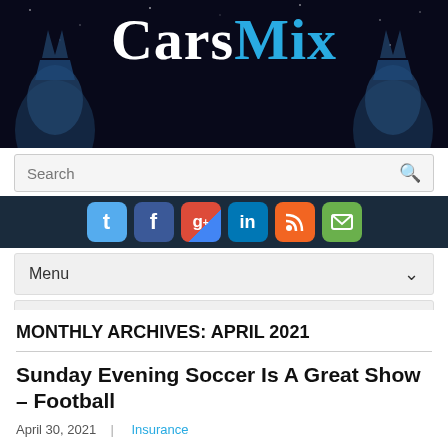CarsMix
[Figure (screenshot): Website header with dark space-themed background, CarsMix logo in white and blue, search bar, social media icons (Twitter, Facebook, Google+, LinkedIn, RSS, Email), Menu dropdown, and Navigation dropdown]
MONTHLY ARCHIVES: APRIL 2021
Sunday Evening Soccer Is A Great Show – Football
April 30, 2021 | Insurance
Keep reading to learn how to observe NFL online, without a cable Television subscription. What Is You learned the about-media. Select from